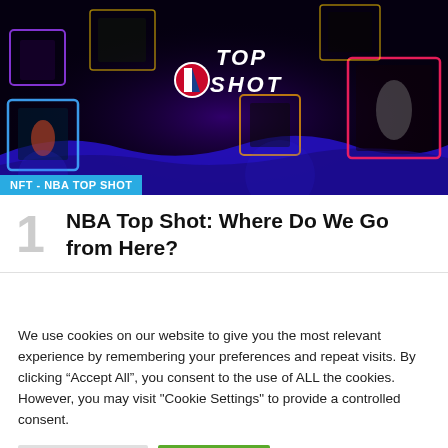[Figure (photo): NBA Top Shot promotional image showing glowing 3D cubes with basketball player moments floating in a dark space background with blue wave at bottom. NBA Top Shot logo in center with NBA basketball icon.]
NFT - NBA TOP SHOT
NBA Top Shot: Where Do We Go from Here?
We use cookies on our website to give you the most relevant experience by remembering your preferences and repeat visits. By clicking “Accept All”, you consent to the use of ALL the cookies. However, you may visit "Cookie Settings" to provide a controlled consent.